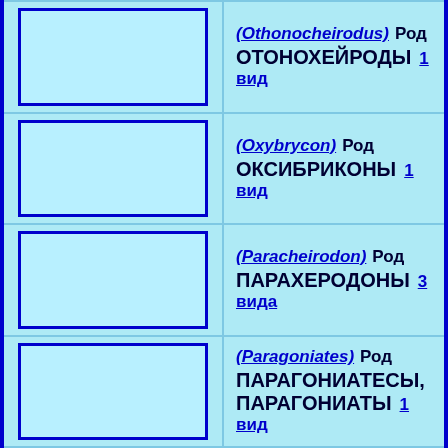[Figure (illustration): Empty blue placeholder image box for Othonocheirodus]
(Othonocheirodus) Род ОТОНОХЕЙРОДЫ 1 вид
[Figure (illustration): Empty blue placeholder image box for Oxybrycon]
(Oxybrycon) Род ОКСИБРИКОНЫ 1 вид
[Figure (illustration): Empty blue placeholder image box for Paracheirodon]
(Paracheirodon) Род ПАРАХЕРОДОНЫ 3 вида
[Figure (illustration): Empty blue placeholder image box for Paragoniates]
(Paragoniates) Род ПАРАГОНИАТЕСЫ, ПАРАГОНИАТЫ 1 вид